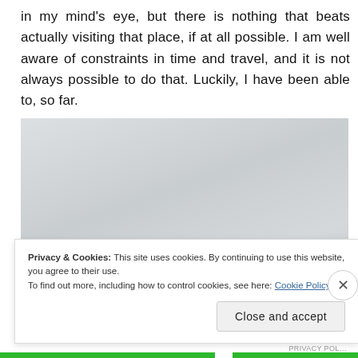in my mind's eye, but there is nothing that beats actually visiting that place, if at all possible. I am well aware of constraints in time and travel, and it is not always possible to do that. Luckily, I have been able to, so far.
[Figure (photo): A mostly grey/white blank or heavily overexposed outdoor photo, nearly featureless with a slight gradient suggesting sky or fog.]
Privacy & Cookies: This site uses cookies. By continuing to use this website, you agree to their use.
To find out more, including how to control cookies, see here: Cookie Policy
Close and accept